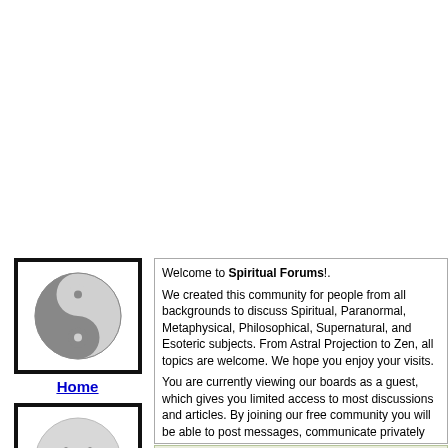[Figure (illustration): Yin-yang symbol in a black-bordered box, used as Home navigation icon]
Home
[Figure (illustration): Smiley face icon in a black-bordered box, used as Donate/navigation icon]
Donate!
Articles
CHAT!
Shop
Welcome to Spiritual Forums!.

We created this community for people from all backgrounds to discuss Spiritual, Paranormal, Metaphysical, Philosophical, Supernatural, and Esoteric subjects. From Astral Projection to Zen, all topics are welcome. We hope you enjoy your visits.

You are currently viewing our boards as a guest, which gives you limited access to most discussions and articles. By joining our free community you will be able to post messages, communicate privately with other members (PM), respond to polls, upload your own photos, and gain access to our Chat Rooms, Registration is fast, simple, and free, so please, join our community today! !

If you have any problems with the registration process or your account login, check our FAQs before contacting support. Please read our forum rules, since they are enforced by our volunteer staff. This will help you avoid any infractions and issues.
Spiritual Forums
Religions & Faiths
User Name [field] Remember Me
Password [field] Log in